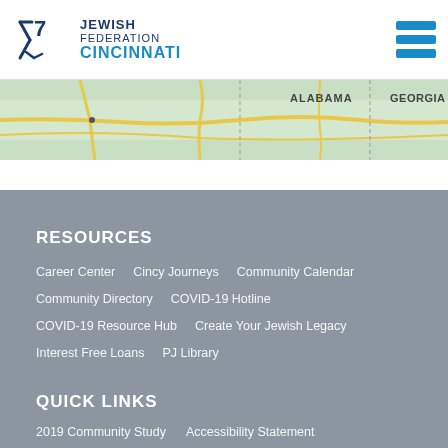Jewish Federation Cincinnati
[Figure (map): A road map showing parts of Alabama and Georgia states with yellow highways and green terrain]
RESOURCES
Career Center
Cincy Journeys
Community Calendar
Community Directory
COVID-19 Hotline
COVID-19 Resource Hub
Create Your Jewish Legacy
Interest Free Loans
PJ Library
QUICK LINKS
2019 Community Study
Accessibility Statement